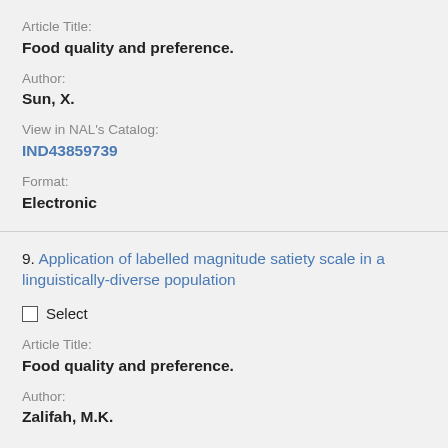Article Title:
Food quality and preference.
Author:
Sun, X.
View in NAL's Catalog:
IND43859739
Format:
Electronic
9. Application of labelled magnitude satiety scale in a linguistically-diverse population
Select
Article Title:
Food quality and preference.
Author:
Zalifah, M.K.